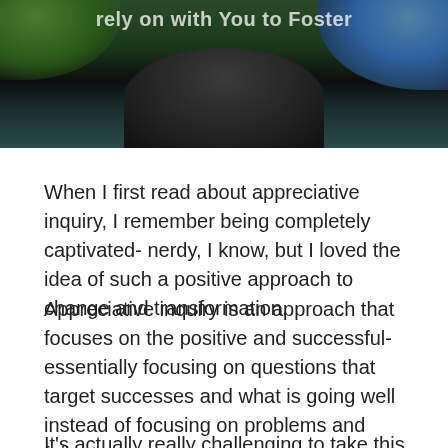[Figure (photo): Nature photo showing dark rocks/mountain with green foliage top-left and blue-toned foliage top-right. Partially visible title text at the top.]
When I first read about appreciative inquiry, I remember being completely captivated- nerdy, I know, but I loved the idea of such a positive approach to change and transformation.
Appreciative inquiry is an approach that focuses on the positive and successful- essentially focusing on questions that target successes and what is going well instead of focusing on problems and failures.
It's actually really challenging to take this approach, however- so much of our lives is focused on solving problems and identifying root causes and mitigating risk. Focusing on what